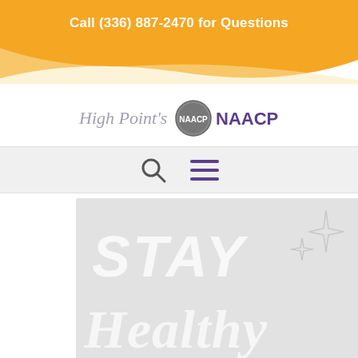Call (336) 887-2470 for Questions
[Figure (logo): High Point NAACP logo with circular emblem and text 'NAACP']
[Figure (screenshot): Website navigation bar with search icon and hamburger menu icon]
[Figure (photo): Hero image with large white text reading 'STAY Healthy' on light gray background with sparkle decorations]